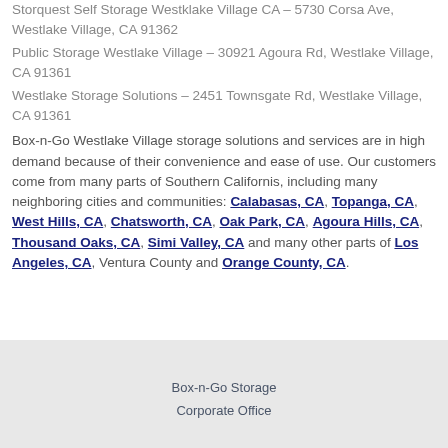Storquest Self Storage Westklake Village CA – 5730 Corsa Ave, Westlake Village, CA 91362
Public Storage Westlake Village – 30921 Agoura Rd, Westlake Village, CA 91361
Westlake Storage Solutions – 2451 Townsgate Rd, Westlake Village, CA 91361
Box-n-Go Westlake Village storage solutions and services are in high demand because of their convenience and ease of use. Our customers come from many parts of Southern Californis, including many neighboring cities and communities: Calabasas, CA, Topanga, CA, West Hills, CA, Chatsworth, CA, Oak Park, CA, Agoura Hills, CA, Thousand Oaks, CA, Simi Valley, CA and many other parts of Los Angeles, CA, Ventura County and Orange County, CA.
Box-n-Go Storage
Corporate Office